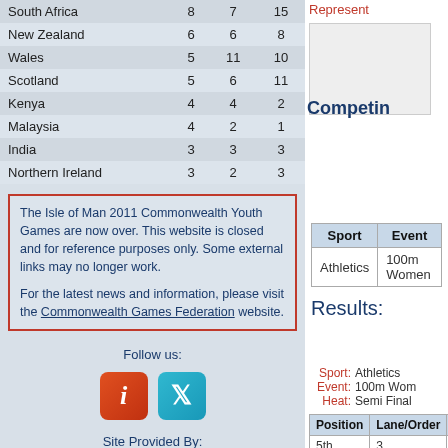| Country |  |  |  |
| --- | --- | --- | --- |
| South Africa | 8 | 7 | 15 |
| New Zealand | 6 | 6 | 8 |
| Wales | 5 | 11 | 10 |
| Scotland | 5 | 6 | 11 |
| Kenya | 4 | 4 | 2 |
| Malaysia | 4 | 2 | 1 |
| India | 3 | 3 | 3 |
| Northern Ireland | 3 | 2 | 3 |
The Isle of Man 2011 Commonwealth Youth Games are now over. This website is closed and for reference purposes only. Some external links may no longer work.

For the latest news and information, please visit the Commonwealth Games Federation website.
Follow us:
[Figure (other): Social media icons: information icon (red/orange) and Twitter bird icon (teal)]
Site Provided By:
Site Hosted By:
Represent
[Figure (photo): Athlete photo placeholder]
Competing
| Sport | Event |
| --- | --- |
| Athletics | 100m Women |
Results:
Sport: Athletics
Event: 100m Women
Heat: Semi Final
| Position | Lane/Order | Compe... |
| --- | --- | --- |
| 5th | 3 | Gregria... |
Last Result  09/09/2011 16:19:32 S